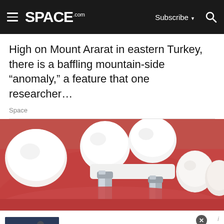SPACE.com — Subscribe — Search
High on Mount Ararat in eastern Turkey, there is a baffling mountain-side “anomaly,” a feature that one researcher…
Space
[Figure (photo): 3D medical illustration of dental implants with white crowns (bridge) being placed over silver metal abutments in a red gum/jaw, with natural teeth visible on the sides.]
Nike. Just Do It
Inspiring the world’s athletes, Nike delivers the deals
www.nike.com